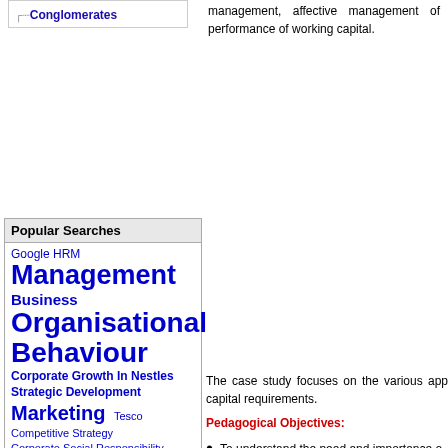Conglomerates
management, affective management of performance of working capital.
Popular Searches
Google HRM
Management
Business
Organisational Behaviour
Corporate Growth In Nestles Strategic Development
Marketing
Tesco
Competitive Strategy
Corporate Social Responsibility
The case study focuses on the various app capital requirements.
Pedagogical Objectives:
To understand the need and importance o